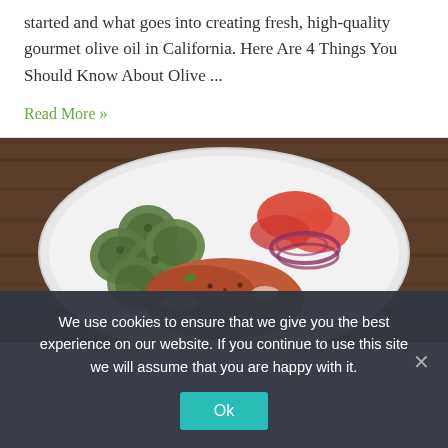started and what goes into creating fresh, high-quality gourmet olive oil in California. Here Are 4 Things You Should Know About Olive ...
Read More »
[Figure (photo): A white plate on a wooden table with roasted zucchini slices, tomato wedges, red onion rings, and seasoned baked chicken or fish, garnished with green herbs.]
We use cookies to ensure that we give you the best experience on our website. If you continue to use this site we will assume that you are happy with it.